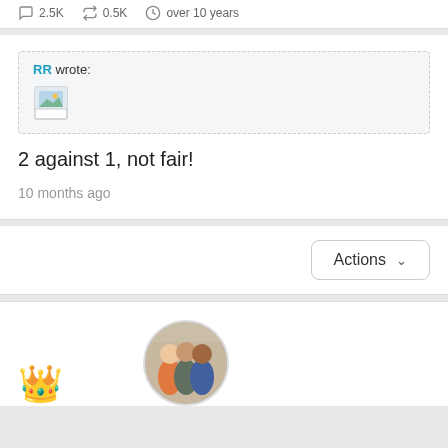2.5K  0.5K  over 10 years
RR wrote:
[Figure (photo): Broken image placeholder thumbnail]
2 against 1, not fair!
10 months ago
Actions
[Figure (photo): Crown emoji and circular avatar photo of three men]